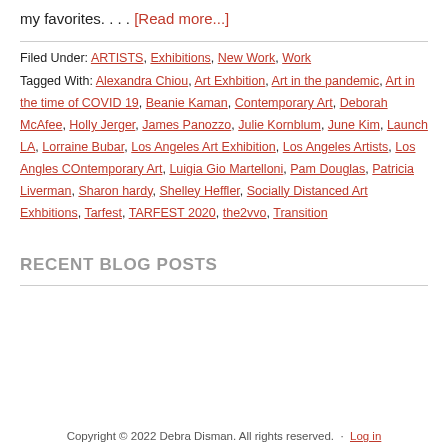my favorites. . . . [Read more...]
Filed Under: ARTISTS, Exhibitions, New Work, Work
Tagged With: Alexandra Chiou, Art Exhbition, Art in the pandemic, Art in the time of COVID 19, Beanie Kaman, Contemporary Art, Deborah McAfee, Holly Jerger, James Panozzo, Julie Kornblum, June Kim, Launch LA, Lorraine Bubar, Los Angeles Art Exhibition, Los Angeles Artists, Los Angles COntemporary Art, Luigia Gio Martelloni, Pam Douglas, Patricia Liverman, Sharon hardy, Shelley Heffler, Socially Distanced Art Exhbitions, Tarfest, TARFEST 2020, the2vvo, Transition
RECENT BLOG POSTS
Copyright © 2022 Debra Disman. All rights reserved. · Log in